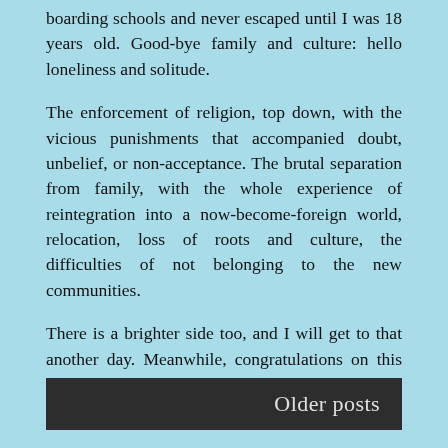boarding schools and never escaped until I was 18 years old. Good-bye family and culture: hello loneliness and solitude.
The enforcement of religion, top down, with the vicious punishments that accompanied doubt, unbelief, or non-acceptance. The brutal separation from family, with the whole experience of reintegration into a now-become-foreign world, relocation, loss of roots and culture, the difficulties of not belonging to the new communities.
There is a brighter side too, and I will get to that another day. Meanwhile, congratulations on this book, Jan. May it be the first of many and a delight and revelation to all.
Older posts